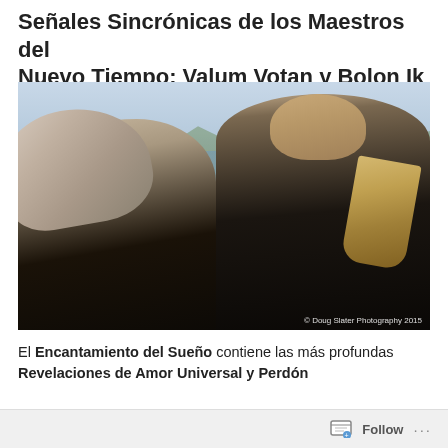Señales Sincrónicas de los Maestros del Nuevo Tiempo: Valum Votan y Bolon Ik
[Figure (photo): Two people outdoors near a lake with mountains in the background. A woman with flowing grey hair looks up joyfully on the left; a man in a black jacket plays a pan flute on the right. Copyright © Doug Slater Photography 2015.]
El Encantamiento del Sueño contiene las más profundas Revelaciones de Amor Universal y Perdón
Follow ···